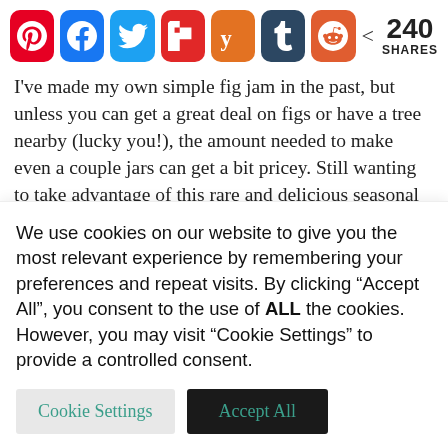[Figure (other): Social share bar with Pinterest, Facebook, Twitter, Flipboard, Yummly, Tumblr, Reddit icons and 240 SHARES count]
I've made my own simple fig jam in the past, but unless you can get a great deal on figs or have a tree nearby (lucky you!), the amount needed to make even a couple jars can get a bit pricey. Still wanting to take advantage of this rare and delicious seasonal fruit, I decided the best thing to do would be to mix the figs with something that has a lower price point and complimentary flavors. With their similar color and mellow sweetness, I knew European purple plums
We use cookies on our website to give you the most relevant experience by remembering your preferences and repeat visits. By clicking "Accept All", you consent to the use of ALL the cookies. However, you may visit "Cookie Settings" to provide a controlled consent.